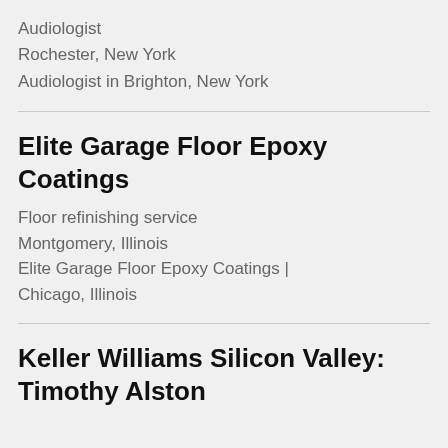Audiologist
Rochester, New York
Audiologist in Brighton, New York
Elite Garage Floor Epoxy Coatings
Floor refinishing service
Montgomery, Illinois
Elite Garage Floor Epoxy Coatings | Chicago, Illinois
Keller Williams Silicon Valley: Timothy Alston